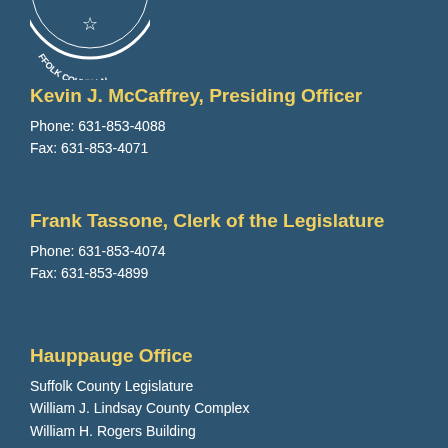[Figure (logo): Suffolk County, NY circular seal/logo in white on dark teal background, partially visible at top left]
Kevin J. McCaffrey, Presiding Officer
Phone: 631-853-4088
Fax: 631-853-4071
Frank Tassone, Clerk of the Legislature
Phone: 631-853-4074
Fax: 631-853-4899
Hauppauge Office
Suffolk County Legislature
William J. Lindsay County Complex
William H. Rogers Building